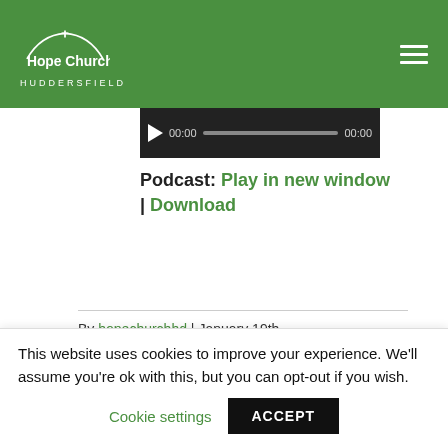Hope Church Huddersfield
[Figure (screenshot): Audio player bar with play button, 00:00 time display, progress bar, and 00:00 duration]
Podcast: Play in new window | Download
By hopechurchhd | January 19th, 2014 | Jeremiah | 0 Comments
Read More >
This website uses cookies to improve your experience. We'll assume you're ok with this, but you can opt-out if you wish.
Cookie settings  ACCEPT